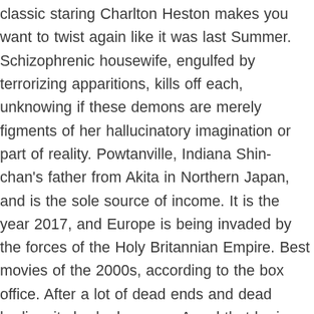classic staring Charlton Heston makes you want to twist again like it was last Summer. Schizophrenic housewife, engulfed by terrorizing apparitions, kills off each, unknowing if these demons are merely figments of her hallucinatory imagination or part of reality. Powtanville, Indiana Shin-chan's father from Akita in Northern Japan, and is the sole source of income. It is the year 2017, and Europe is being invaded by the forces of the Holy Britannian Empire. Best movies of the 2000s, according to the box office. After a lot of dead ends and dead bodies, it slowly dawns on Angel that he is Favorite, a powerful magician who sold his soul to Satan, and then attempted to beat the devil and disappear under the firing line by killing a soldier, eating his heart and assuming his identity. In an attempt to combat the opposition's … At the end of the film,